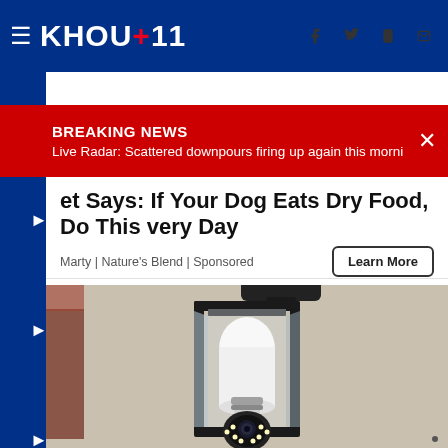KHOU 11
BREAKING NEWS
Live Radar: Scattered downpours firing up again this mornin...
et Says: If Your Dog Eats Dry Food, Do This very Day
Marty | Nature's Blend | Sponsored
[Figure (photo): Outdoor wall lantern with a smart security camera bulb installed, showing the camera module at the bottom of the bulb with LEDs, mounted on a stucco wall]